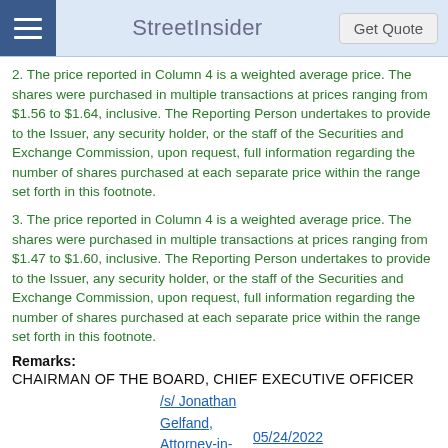StreetInsider
2. The price reported in Column 4 is a weighted average price. The shares were purchased in multiple transactions at prices ranging from $1.56 to $1.64, inclusive. The Reporting Person undertakes to provide to the Issuer, any security holder, or the staff of the Securities and Exchange Commission, upon request, full information regarding the number of shares purchased at each separate price within the range set forth in this footnote.
3. The price reported in Column 4 is a weighted average price. The shares were purchased in multiple transactions at prices ranging from $1.47 to $1.60, inclusive. The Reporting Person undertakes to provide to the Issuer, any security holder, or the staff of the Securities and Exchange Commission, upon request, full information regarding the number of shares purchased at each separate price within the range set forth in this footnote.
Remarks:
CHAIRMAN OF THE BOARD, CHIEF EXECUTIVE OFFICER
/s/ Jonathan Gelfand, Attorney-in-Fact for Carl Daikeler   05/24/2022
** Signature